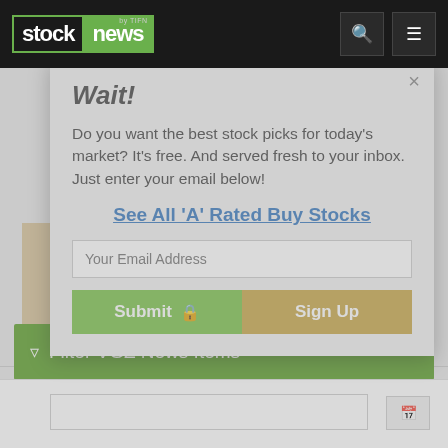[Figure (screenshot): Stock News website navigation bar with logo showing 'stock news by TIFN', search icon, and hamburger menu icon on dark background]
Industry: Miners - Gold
Ranked
38
In Industry
Wait!
Do you want the best stock picks for today's market? It's free. And served fresh to your inbox. Just enter your email below!
See All 'A' Rated Buy Stocks
Your Email Address
Add VGZ to Watchlist
Submit  Sign Up
Filter VGZ News Items